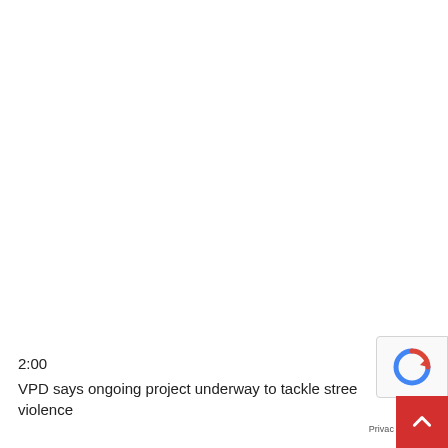2:00
VPD says ongoing project underway to tackle street violence